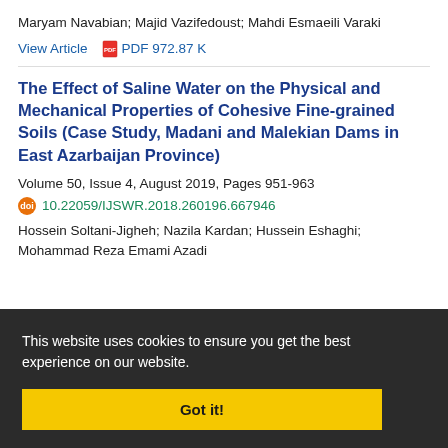Maryam Navabian; Majid Vazifedoust; Mahdi Esmaeili Varaki
View Article  PDF 972.87 K
The Effect of Saline Water on the Physical and Mechanical Properties of Cohesive Fine-grained Soils (Case Study, Madani and Malekian Dams in East Azarbaijan Province)
Volume 50, Issue 4, August 2019, Pages 951-963
10.22059/IJSWR.2018.260196.667946
Hossein Soltani-Jigheh; Nazila Kardan; Hussein Eshaghi; Mohammad Reza Emami Azadi
This website uses cookies to ensure you get the best experience on our website.
Got it!